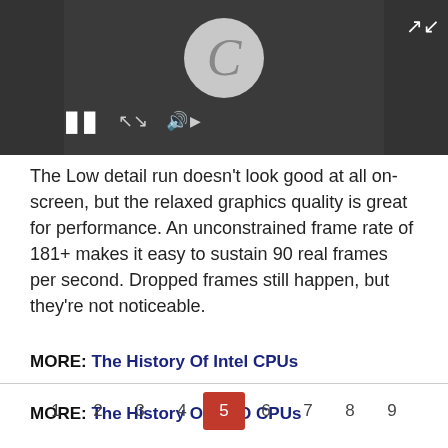[Figure (screenshot): Video player with dark background showing a loading spinner (letter C in circle), pause button, arrow icons, and speaker icon. Expand icon in top-right corner.]
The Low detail run doesn't look good at all on-screen, but the relaxed graphics quality is great for performance. An unconstrained frame rate of 181+ makes it easy to sustain 90 real frames per second. Dropped frames still happen, but they're not noticeable.
MORE: The History Of Intel CPUs
MORE: The History Of AMD CPUs
1 2 3 4 5 6 7 8 9